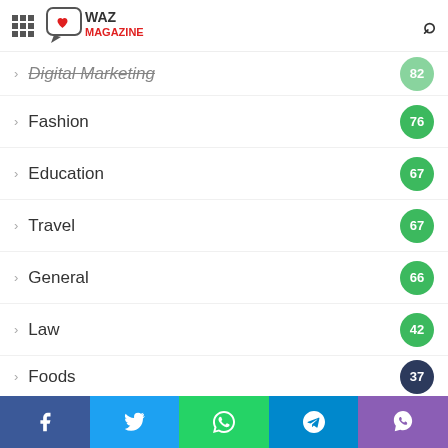WAZ MAGAZINE
Digital Marketing 82
Fashion 76
Education 67
Travel 67
General 66
Law 42
Foods 37
Entertainment 34
Games 34
Real Estate 30
Sport
Facebook Twitter WhatsApp Telegram Viber